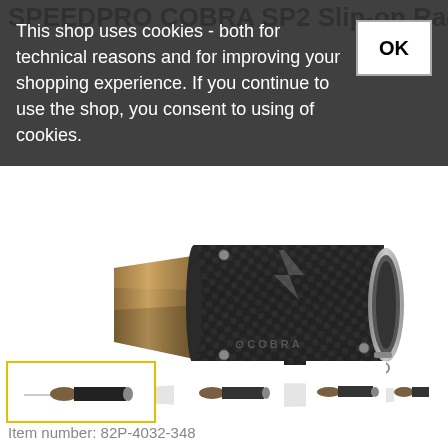SPEEDPRO COBRA SP2 Slip-on Race Kawasaki ZX 8R Ninja
This shop uses cookies - both for technical reasons and for improving your shopping experience. If you continue to use the shop, you consent to using of cookies.
[Figure (photo): SPEEDPRO COBRA SP2 slip-on exhaust muffler with carbon fiber body and titanium-colored end cap, on white background]
[Figure (photo): Thumbnail strip showing three views of the exhaust muffler; first thumbnail highlighted with yellow border]
Item number: 82P-4032-348